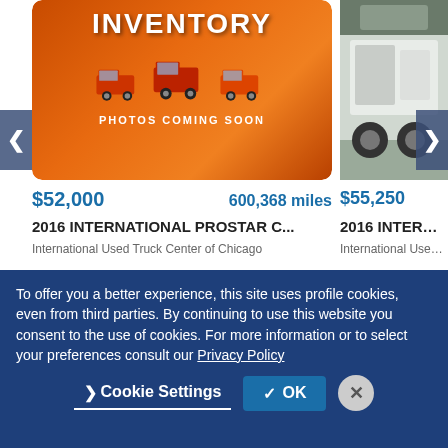[Figure (screenshot): Orange inventory banner with red semi trucks, text INVENTORY and PHOTOS COMING SOON]
$52,000   600,368 miles
2016 INTERNATIONAL PROSTAR C...
International Used Truck Center of Chicago
[Figure (photo): Photo of a white semi truck trailer from rear angle]
$55,250
2016 INTERNATI
International Used Tr
[Figure (logo): International truck shield logo on gray background]
To offer you a better experience, this site uses profile cookies, even from third parties. By continuing to use this website you consent to the use of cookies. For more information or to select your preferences consult our Privacy Policy
> Cookie Settings   ✓ OK   ✕